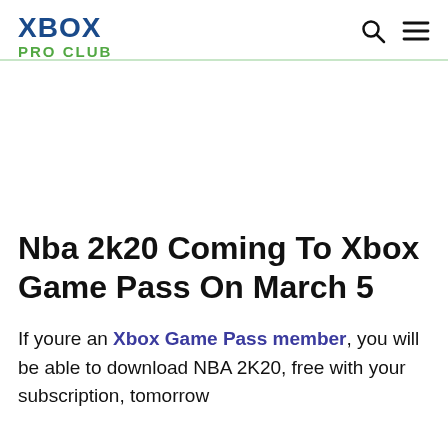XBOX PRO CLUB
Nba 2k20 Coming To Xbox Game Pass On March 5
If youre an Xbox Game Pass member, you will be able to download NBA 2K20, free with your subscription, tomorrow